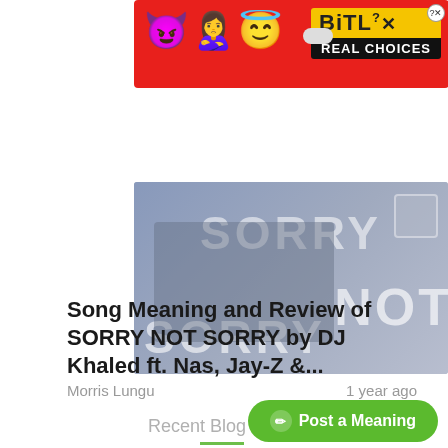[Figure (other): BitLife advertisement banner with red background, emoji characters (devil, woman, angel), BitLife logo in yellow with REAL CHOICES text, and a close button]
[Figure (photo): Faded/greyed out album or promotional image with the words SORRY NOT SORRY overlaid in large white text, showing a DJ setup scene]
Song Meaning and Review of SORRY NOT SORRY by DJ Khaled ft. Nas, Jay-Z &...
Morris Lungu
1 year ago
Recent Blog Posts
Post a Meaning